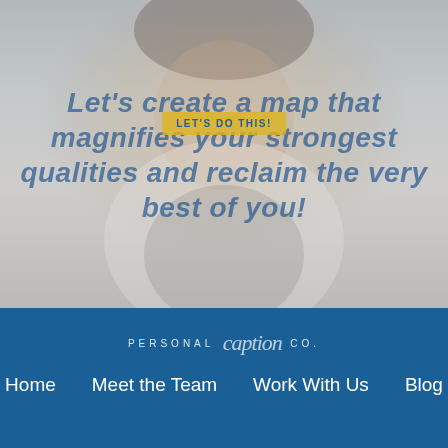[Figure (photo): A laughing woman with dark hair, wearing a white and black patterned top, photographed against a white brick wall background. The photo has a faded/muted overlay effect.]
Let's create a map that magnifies your strongest qualities and reclaim the very best of you!
LET'S DO THIS!
[Figure (logo): Personal [script signature] Co. logo in white text on dark blue background.]
Home
Meet the Team
Work With Us
Blog